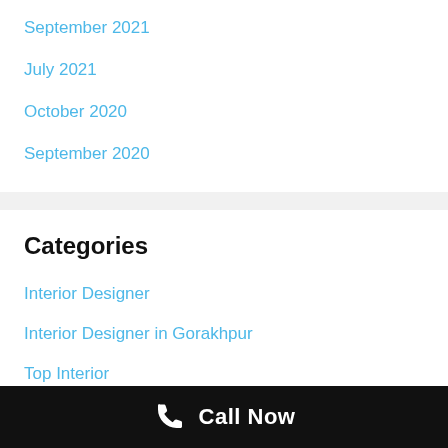September 2021
July 2021
October 2020
September 2020
Categories
Interior Designer
Interior Designer in Gorakhpur
Top Interior
Call Now